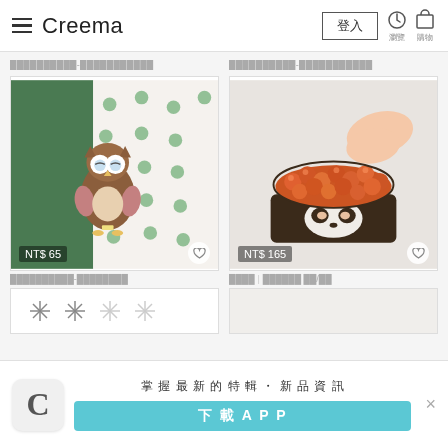Creema — 登入
██████████-███████████
██████████-███████████
[Figure (photo): Embroidered owl brooch on green fabric with polka dot background, price NT$ 65]
[Figure (photo): Embroidered salmon roe sushi brooch held by fingers, price NT$ 165]
██████████-████████
████ | ██████ ██/██
[Figure (photo): Partial product card showing star/asterisk embroidery icons]
[Figure (photo): Partial product card (right side, partially visible)]
掌握最新的特輯・新品資訊
下載 APP